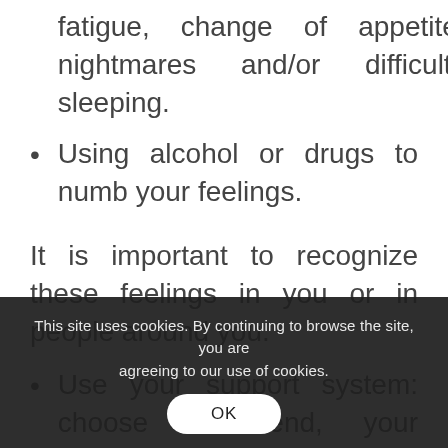fatigue, change of appetite, nightmares and/or difficulty sleeping.
Using alcohol or drugs to numb your feelings.
It is important to recognize these feelings in you or in people around you.
Use your support system: choose a friend, your partner, family, someone who is willing and ready to listen to you rather than telling you what to do, helps to reduce stress. May be uncomfortable at first but it may help you feel better faster.
This site uses cookies. By continuing to browse the site, you are agreeing to our use of cookies.